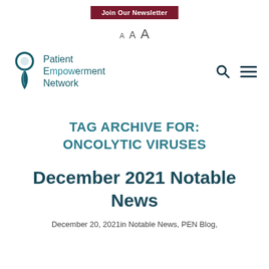Join Our Newsletter
A A A
[Figure (logo): Patient Empowerment Network logo with location pin icon and search/menu navigation icons]
TAG ARCHIVE FOR: ONCOLYTIC VIRUSES
December 2021 Notable News
December 20, 2021in Notable News, PEN Blog,